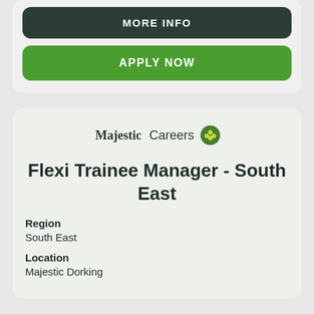MORE INFO
APPLY NOW
[Figure (logo): Majestic Careers logo with grape cluster icon]
Flexi Trainee Manager - South East
Region
South East
Location
Majestic Dorking